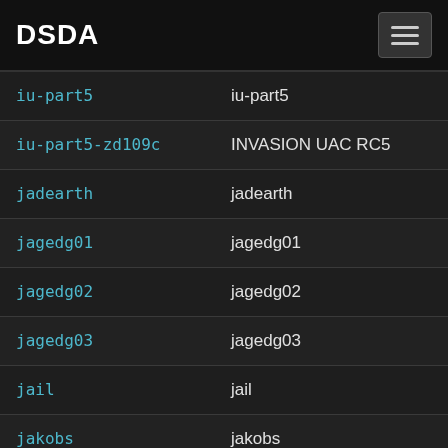DSDA
| slug | title |
| --- | --- |
| iu-part5 | iu-part5 |
| iu-part5-zd109c | INVASION UAC RC5 |
| jadearth | jadearth |
| jagedg01 | jagedg01 |
| jagedg02 | jagedg02 |
| jagedg03 | jagedg03 |
| jail | jail |
| jakobs | jakobs |
| jamep1 | J.A.M. (Just A Mapset)... |
| janine | January Ninth |
| jaq | jaq |